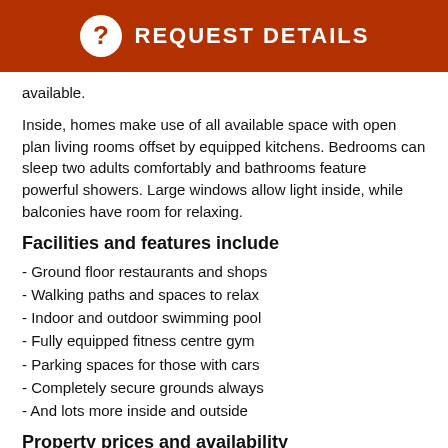REQUEST DETAILS
available.
Inside, homes make use of all available space with open plan living rooms offset by equipped kitchens. Bedrooms can sleep two adults comfortably and bathrooms feature powerful showers. Large windows allow light inside, while balconies have room for relaxing.
Facilities and features include
- Ground floor restaurants and shops
- Walking paths and spaces to relax
- Indoor and outdoor swimming pool
- Fully equipped fitness centre gym
- Parking spaces for those with cars
- Completely secure grounds always
- And lots more inside and outside
Property prices and availability
3+1 bedroom units sized from 205m2 and available starting from 1,100,000 USD
4+1 bedroom units sized from 251m2 and available starting from